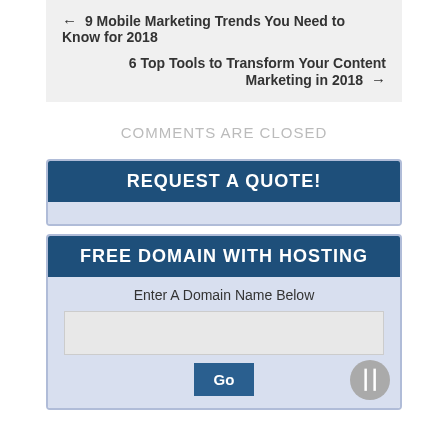← 9 Mobile Marketing Trends You Need to Know for 2018
6 Top Tools to Transform Your Content Marketing in 2018 →
COMMENTS ARE CLOSED
REQUEST A QUOTE!
FREE DOMAIN WITH HOSTING
Enter A Domain Name Below
Go